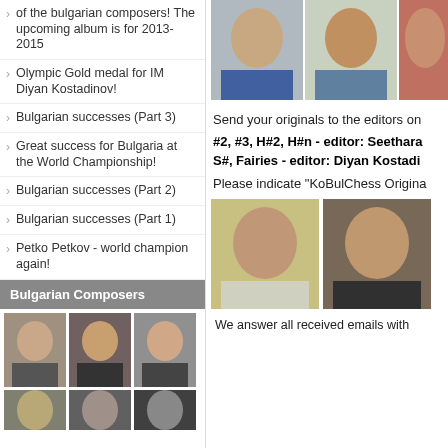of the bulgarian composers! The upcoming album is for 2013-2015
Olympic Gold medal for IM Diyan Kostadinov!
Bulgarian successes (Part 3)
Great success for Bulgaria at the World Championship!
Bulgarian successes (Part 2)
Bulgarian successes (Part 1)
Petko Petkov - world champion again!
Bulgarian Composers
[Figure (photo): Three portrait photos of Bulgarian composers in a grid]
[Figure (photo): Two partial portrait photos at bottom of composers grid]
[Figure (photo): Three portrait photos of chess/composer people at top right]
Send your originals to the editors on
#2, #3, H#2, H#n - editor: Seetha...
S#, Fairies - editor: Diyan Kostadi...
Please indicate "KoBulChess Origina..."
[Figure (photo): Two portrait photos of editors: Seetharaman and Diyan Kostadinov]
We answer all received emails with...